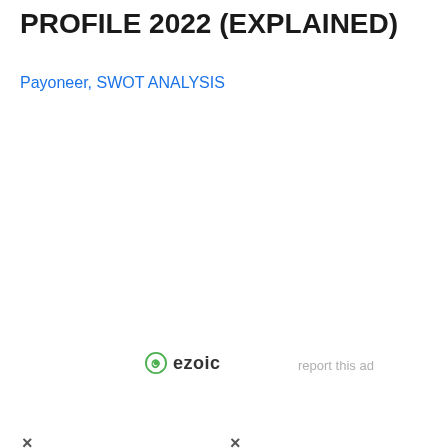PROFILE 2022 (EXPLAINED)
Payoneer, SWOT ANALYSIS
[Figure (logo): Ezoic logo with circular green icon and 'ezoic' text in dark grey]
report this ad